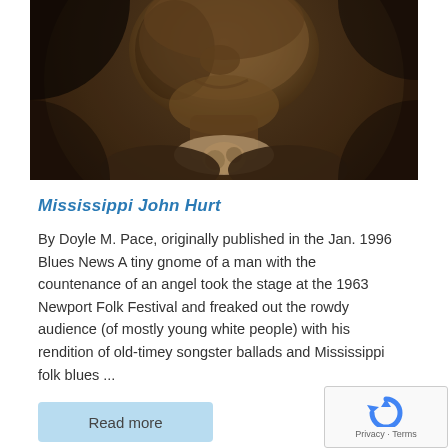[Figure (photo): Close-up sepia-toned photograph of an elderly Black man's face and upper body, wearing a patterned necktie, with a dark background]
Mississippi John Hurt
By Doyle M. Pace, originally published in the Jan. 1996 Blues News A tiny gnome of a man with the countenance of an angel took the stage at the 1963 Newport Folk Festival and freaked out the rowdy audience (of mostly young white people) with his rendition of old-timey songster ballads and Mississippi folk blues ...
Read more